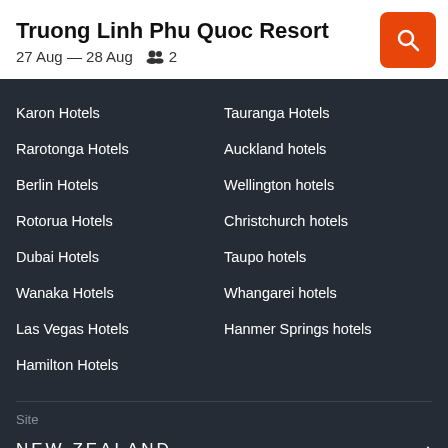Truong Linh Phu Quoc Resort
27 Aug — 28 Aug   2
Karon Hotels
Tauranga Hotels
Rarotonga Hotels
Auckland hotels
Berlin Hotels
Wellington hotels
Rotorua Hotels
Christchurch hotels
Dubai Hotels
Taupo hotels
Wanaka Hotels
Whangarei hotels
Las Vegas Hotels
Hanmer Springs hotels
Hamilton Hotels
Site
NEW ZEALAND